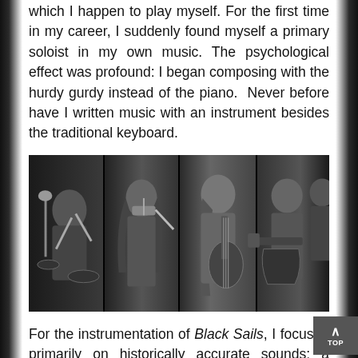which I happen to play myself. For the first time in my career, I suddenly found myself a primary soloist in my own music. The psychological effect was profound: I began composing with the hurdy gurdy instead of the piano. Never before have I written music with an instrument besides the traditional keyboard.
[Figure (photo): Black and white composite photo strip showing musicians playing instruments including drums, violin/fiddle, and electric guitar in a recording studio setting]
For the instrumentation of Black Sails, I focused primarily on historically accurate sounds: a string quartet, rhythm guitar trio, percussion duo and various historical solo instruments. Most of this merry band have worked with me for the better part of a decade, and they too had to unlearn our old habits. For the first time, I relaxed my ruthless pursuit of rhythmic